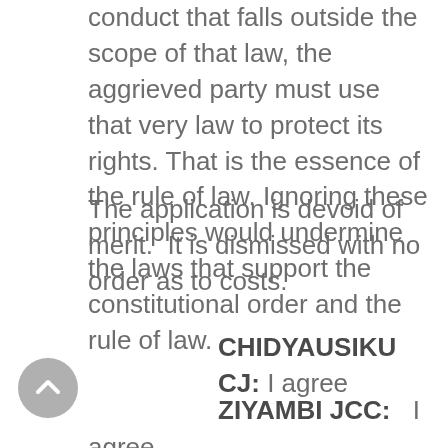conduct that falls outside the scope of that law, the aggrieved party must use that very law to protect its rights. That is the essence of the rule of law. Ignoring these principles would undermine the laws that support the constitutional order and the rule of law.
The application is devoid of merit.  It is dismissed with no order as to costs.
CHIDYAUSIKU CJ: I agree
ZIYAMBI JCC:          I agree